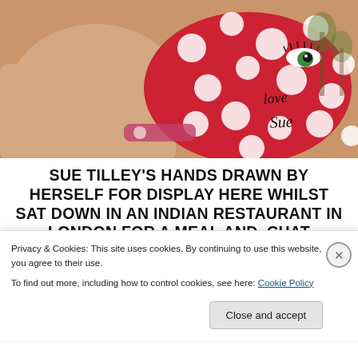[Figure (photo): A red polka-dot face mask with a drawn face (eye with lashes) and handwritten text reading 'love Sue', worn or held against what appears to be skin/fabric, with trees visible in the background.]
SUE TILLEY'S HANDS DRAWN BY HERSELF FOR DISPLAY HERE WHILST SAT DOWN IN AN INDIAN RESTAURANT IN LONDON FOR A MEAL AND CHAT
Privacy & Cookies: This site uses cookies. By continuing to use this website, you agree to their use.
To find out more, including how to control cookies, see here: Cookie Policy
Close and accept